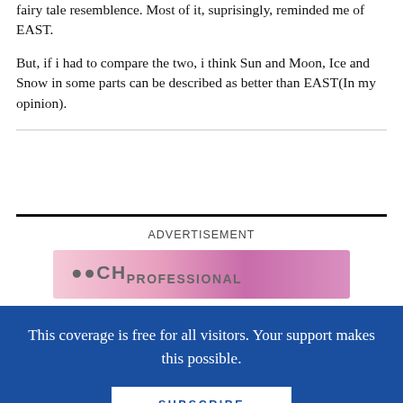fairy tale resemblence. Most of it, suprisingly, reminded me of EAST.

But, if i had to compare the two, i think Sun and Moon, Ice and Snow in some parts can be described as better than EAST(In my opinion).
ADVERTISEMENT
[Figure (illustration): Pink and magenta advertisement banner image with logo text]
This coverage is free for all visitors. Your support makes this possible.
SUBSCRIBE